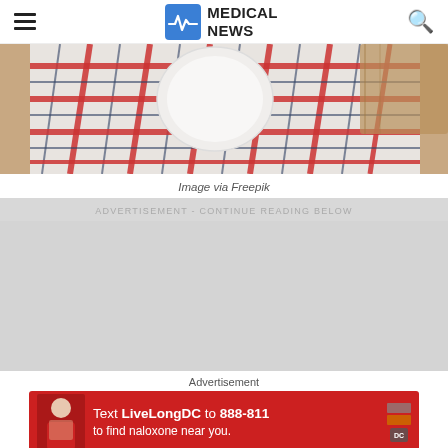MEDICAL NEWS
[Figure (photo): Photo of a checkered red and white kitchen towel/cloth on a wooden surface with a white plate, from Freepik]
Image via Freepik
ADVERTISEMENT - CONTINUE READING BELOW
Advertisement
[Figure (infographic): Red advertisement banner: Text LiveLongDC to 888-811 to find naloxone near you.]